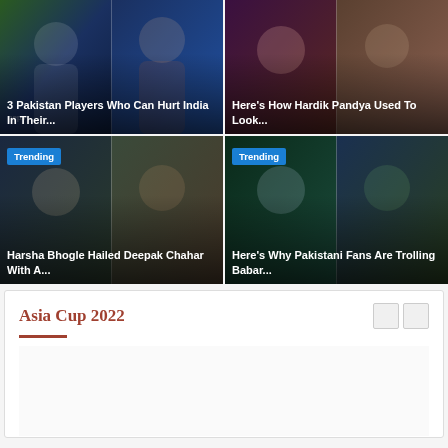[Figure (photo): Two cricket players - Pakistan and India players collage]
3 Pakistan Players Who Can Hurt India In Their...
[Figure (photo): Hardik Pandya old look photo collage]
Here's How Hardik Pandya Used To Look...
[Figure (photo): Trending: Sachin Tendulkar and Deepak Chahar collage]
Harsha Bhogle Hailed Deepak Chahar With A...
[Figure (photo): Trending: Virat Kohli and Babar Azam collage]
Here's Why Pakistani Fans Are Trolling Babar...
Asia Cup 2022